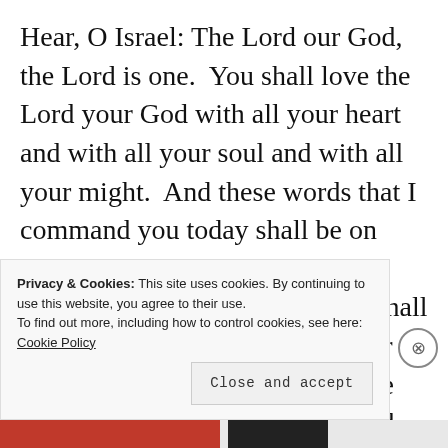Hear, O Israel: The Lord our God, the Lord is one.  You shall love the Lord your God with all your heart and with all your soul and with all your might.  And these words that I command you today shall be on your heart.  You shall teach them diligently to your children, and shall talk of them when you sit in your house, and when you walk by the way, and when you lie down, and when you rise.  You shall bind them
Privacy & Cookies: This site uses cookies. By continuing to use this website, you agree to their use.
To find out more, including how to control cookies, see here: Cookie Policy
Close and accept